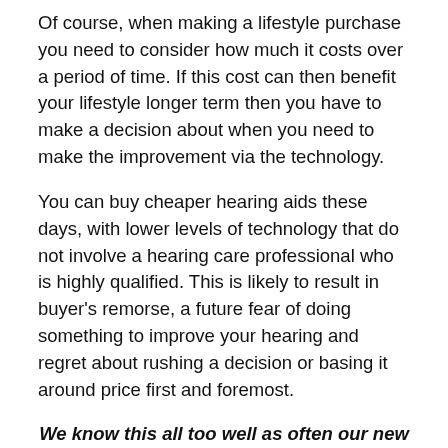Of course, when making a lifestyle purchase you need to consider how much it costs over a period of time. If this cost can then benefit your lifestyle longer term then you have to make a decision about when you need to make the improvement via the technology.
You can buy cheaper hearing aids these days, with lower levels of technology that do not involve a hearing care professional who is highly qualified. This is likely to result in buyer's remorse, a future fear of doing something to improve your hearing and regret about rushing a decision or basing it around price first and foremost.
We know this all too well as often our new patients come to us having had a bad experience in the past because they were ill